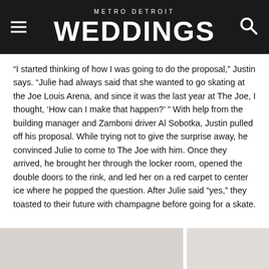METRO DETROIT WEDDINGS
“I started thinking of how I was going to do the proposal,” Justin says. “Julie had always said that she wanted to go skating at the Joe Louis Arena, and since it was the last year at The Joe, I thought, ‘How can I make that happen?’ ” With help from the building manager and Zamboni driver Al Sobotka, Justin pulled off his proposal. While trying not to give the surprise away, he convinced Julie to come to The Joe with him. Once they arrived, he brought her through the locker room, opened the double doors to the rink, and led her on a red carpet to center ice where he popped the question. After Julie said “yes,” they toasted to their future with champagne before going for a skate.
[Figure (photo): Two partially visible photos at the bottom of the page, appearing to show wedding or engagement related images with soft/muted tones.]